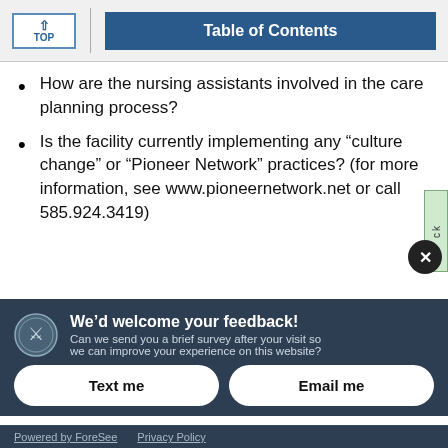TOP | Table of Contents
How are the nursing assistants involved in the care planning process?
Is the facility currently implementing any “culture change” or “Pioneer Network” practices? (for more information, see www.pioneernetwork.net or call 585.924.3419)
We’d welcome your feedback! Can we send you a brief survey after your visit so we can improve your experience on this website?
Text me
Email me
Powered by ForeSee   Privacy Policy